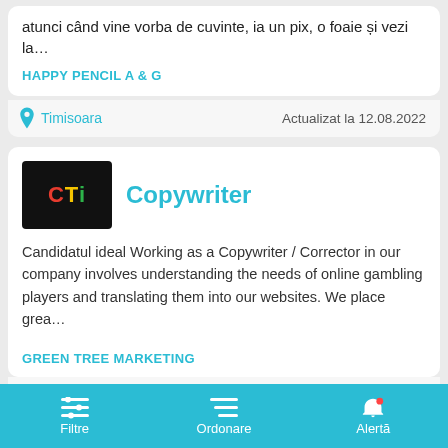atunci când vine vorba de cuvinte, ia un pix, o foaie și vezi la…
HAPPY PENCIL A & G
Timisoara
Actualizat la 12.08.2022
[Figure (logo): Colorful logo with letters CTi on dark background]
Copywriter
Candidatul ideal Working as a Copywriter / Corrector in our company involves understanding the needs of online gambling players and translating them into our websites. We place grea…
GREEN TREE MARKETING
Bucuresti
Actualizat la 11.08.2022
[Figure (logo): Green tree/mountain logo]
Content Creator Social Media
Filtre   Ordonare   Alertă